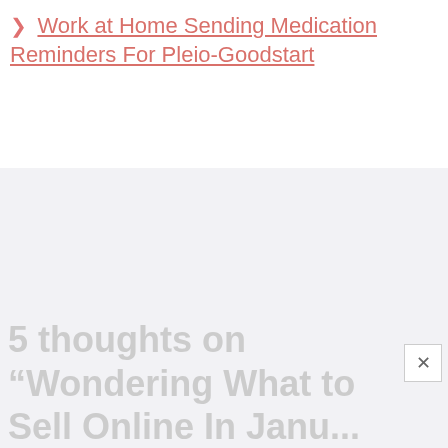Work at Home Sending Medication Reminders For Pleio-Goodstart
[Figure (other): Advertisement or blank content block with light gray background]
5 thoughts on “Wondering What to Sell Online In Janu...